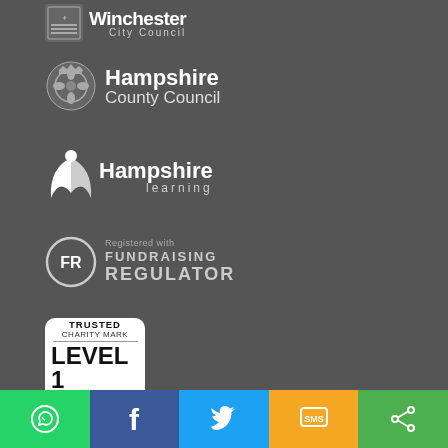[Figure (logo): Winchester City Council logo — coat of arms icon with 'Winchester City Council' text in white on dark grey background]
[Figure (logo): Hampshire County Council logo — rose/county badge icon with 'Hampshire County Council' text in white on dark grey background]
[Figure (logo): Hampshire Learning logo — stylised figure/wing icon with 'Hampshire learning' text in white on dark grey background]
[Figure (logo): Registered with Fundraising Regulator badge — FR circle badge and 'Registered with FUNDRAISING REGULATOR' text in grey on dark grey background]
[Figure (logo): Trusted Charity Mark Level 1 NCVO badge — white rounded rectangle badge with bold text]
[Figure (infographic): Social sharing bar at bottom: WhatsApp (green), Facebook (dark blue), Twitter (light blue), SMS (yellow/orange), Share (green) buttons with icons]